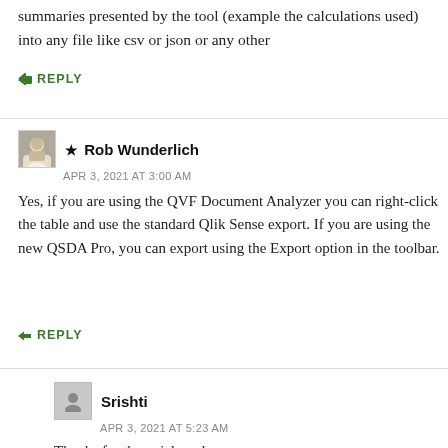summaries presented by the tool (example the calculations used) into any file like csv or json or any other
↪ REPLY
★ Rob Wunderlich
APR 3, 2021 AT 3:00 AM
Yes, if you are using the QVF Document Analyzer you can right-click the table and use the standard Qlik Sense export. If you are using the new QSDA Pro, you can export using the Export option in the toolbar.
↪ REPLY
Srishti
APR 3, 2021 AT 5:23 AM
Thanks for the quick reply.